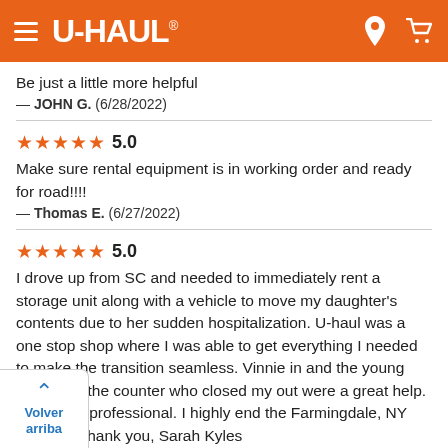U-HAUL
Be just a little more helpful
— JOHN G.  (6/28/2022)
★★★★★ 5.0
Make sure rental equipment is in working order and ready for road!!!!
— Thomas E.  (6/27/2022)
★★★★★ 5.0
I drove up from SC and needed to immediately rent a storage unit along with a vehicle to move my daughter's contents due to her sudden hospitalization. U-haul was a one stop shop where I was able to get everything I needed to make the transition seamless. Vinnie in and the young woman at the counter who closed my out were a great help. Extremely professional. I highly end the Farmingdale, NY location. Thank you, Sarah Kyles
— sarah K.  (6/22/2022)